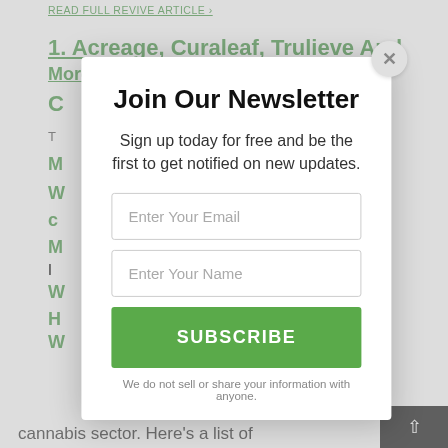READ FULL REVIVE ARTICLE
1. Acreage, Curaleaf, Trulieve And More: Here Are The Cannabis
C...
T...
M...
W...
c...
M...
W...
H...
W...
cannabis sector. Here's a list of
[Figure (screenshot): Newsletter signup modal overlay. Title: 'Join Our Newsletter'. Description: 'Sign up today for free and be the first to get notified on new updates.' Input fields for email and name, a green SUBSCRIBE button, and disclaimer text: 'We do not sell or share your information with anyone.']